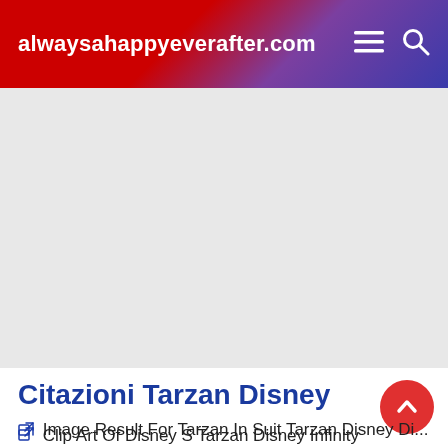alwaysahappyeverafter.com
[Figure (other): Gray advertisement placeholder area]
Citazioni Tarzan Disney
Clip Art Of Disney S Tarzan Disney Infinity Character Tarzan Walt Disney Animation Studios
Image Result For Tarzan In Suit Tarzan Disney Di...